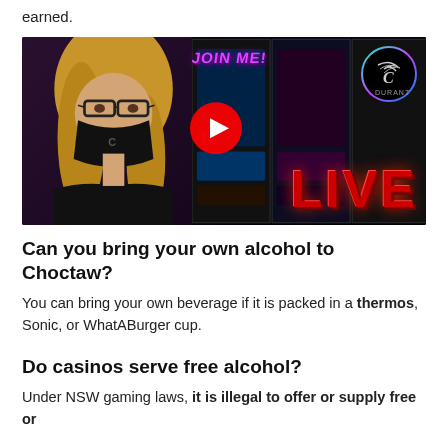earned.
[Figure (screenshot): YouTube video thumbnail showing a woman wearing a black mask and glasses in front of slot machines at Durant Casino. Text overlay reads 'JOIN ME!' in purple and 'LIVE' in large red letters. A YouTube play button is visible in the center. Durant Casino logo is in the top right corner.]
Can you bring your own alcohol to Choctaw?
You can bring your own beverage if it is packed in a thermos, Sonic, or WhatABurger cup.
Do casinos serve free alcohol?
Under NSW gaming laws, it is illegal to offer or supply free or